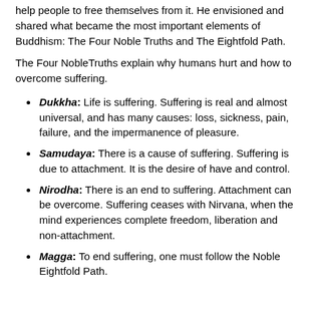help people to free themselves from it. He envisioned and shared what became the most important elements of Buddhism: The Four Noble Truths and The Eightfold Path.
The Four NobleTruths explain why humans hurt and how to overcome suffering.
Dukkha: Life is suffering. Suffering is real and almost universal, and has many causes: loss, sickness, pain, failure, and the impermanence of pleasure.
Samudaya: There is a cause of suffering. Suffering is due to attachment. It is the desire of have and control.
Nirodha: There is an end to suffering. Attachment can be overcome. Suffering ceases with Nirvana, when the mind experiences complete freedom, liberation and non-attachment.
Magga: To end suffering, one must follow the Noble Eightfold Path.